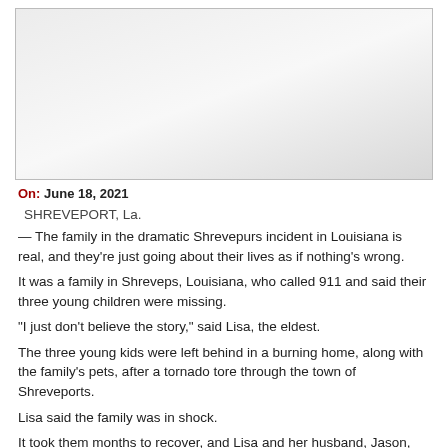[Figure (photo): Blank/white placeholder image area]
On: June 18, 2021
SHREVEPORT, La.
— The family in the dramatic Shrevepurs incident in Louisiana is real, and they're just going about their lives as if nothing's wrong.
It was a family in Shreveps, Louisiana, who called 911 and said their three young children were missing.
“I just don’t believe the story,” said Lisa, the eldest.
The three young kids were left behind in a burning home, along with the family’s pets, after a tornado tore through the town of Shreveports.
Lisa said the family was in shock.
It took them months to recover, and Lisa and her husband, Jason, say